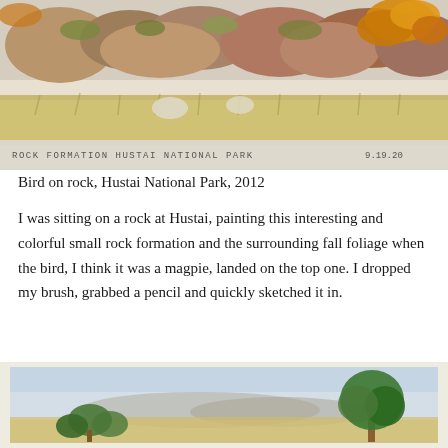[Figure (illustration): Watercolor painting of a rock formation with fall foliage at Hustai National Park, labeled 'ROCK FORMATION HUSTAI NATIONAL PARK' with date '9.19.20' in the lower portion of the painting.]
Bird on rock, Hustai National Park, 2012
I was sitting on a rock at Hustai, painting this interesting and colorful small rock formation and the surrounding fall foliage when the bird, I think it was a magpie, landed on the top one. I dropped my brush, grabbed a pencil and quickly sketched it in.
[Figure (illustration): Watercolor painting of a landscape with trees, mountains in the background, and a light blue sky.]